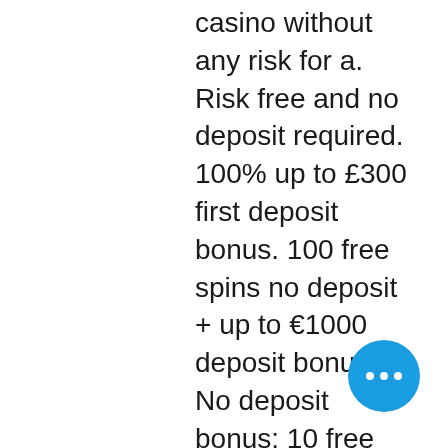casino without any risk for a. Risk free and no deposit required. 100% up to £300 first deposit bonus. 100 free spins no deposit + up to €1000 deposit bonus. No deposit bonus: 10 free spins upon registration at slot game dragon pearls by booongo gaming. Sign up &amp; receive 100% up to £100 &amp; 300 free spins! its' science at its' best creating intellectual madness at casino lab! This type of online casino bonus comes in as free cash or free spins. Casinos award new players when they sign up for a casino account. You could have your deposit matched by up to 100% with our first deposit match bonus** too! Amazing casino bonus ✓100 free spins no deposit sign up bonus from 21. Com casino play your favourite slots. Get the most up-to-date no deposit casino bonuses here. $10 free no deposit sign up bonus. Free spins bonus has no wagering. 23 free spins on registration (max withdrawal is £100). 100% refund bonus up
[Figure (other): Blue circular chat button with three white dots (ellipsis), positioned in lower right area]